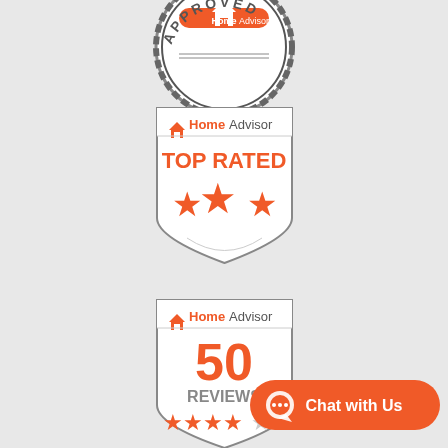[Figure (logo): HomeAdvisor Approved badge - circular seal with text APPROVED]
[Figure (logo): HomeAdvisor Top Rated badge - shield shape with TOP RATED text and three stars]
[Figure (logo): HomeAdvisor 50 Reviews badge - shield shape with 50 REVIEWS text and stars]
[Figure (other): Chat with Us button - orange rounded button with speech bubble icon]